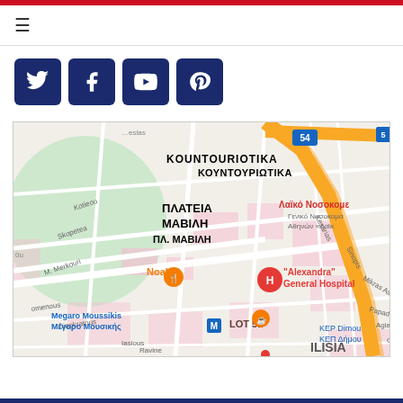red top bar
[Figure (other): hamburger menu icon]
[Figure (other): Social media icons: Twitter, Facebook, YouTube, Pinterest on dark navy blue rounded square backgrounds]
[Figure (map): Google Maps screenshot showing Plateia Mavili area in Athens, Greece. Shows KOUNTOURIOTIKA, PLATEIA MAVILI, Alexandra General Hospital, Megaro Moussikis, Laiko Nosokomio, Noah restaurant, LOT 51, KEP Dimou markers and street names.]